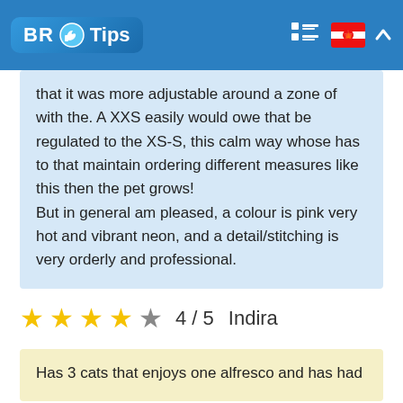BR Tips
that it was more adjustable around a zone of with the. A XXS easily would owe that be regulated to the XS-S, this calm way whose has to that maintain ordering different measures like this then the pet grows! But in general am pleased, a colour is pink very hot and vibrant neon, and a detail/stitching is very orderly and professional.
4 / 5  Indira
Has 3 cats that enjoys one alfresco and has had